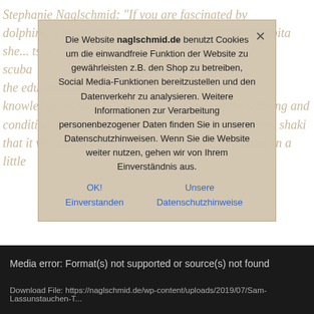Stephanie Naglschmid: "If you are fascinated by dolphins, who crushes corals... humans perhaps inhabit... scuba... when I began the educational a... bered by all the tec... knowledge, as well as the physical aspect of the training and condition. I jumped into the adventure with sometimes shaki... that it was not actually that complicated if you threw in a little..."
Die Website naglschmid.de benutzt Cookies um die einwandfreie Funktion der Website zu gewährleisten z.B. den Shop zu betreiben, Social Media-Funktionen bereitzustellen und den Datenverkehr zu analysieren. Weitere Informationen zur Verarbeitung personenbezogener Daten finden Sie in unseren Datenschutzhinweisen. Wenn Sie die Website weiter nutzen, gehen wir von Ihrem Einverständnis aus.
excitement for the underwater world grew with every fluke sw... painter, I captured many of my impressions in paintings and... make it difficult if it is simple?". This book is my small contrib... diving and to ease the way a little. Together with the diving a... go through the basics step by step, illustrated and with easy-... take a look at what awaits you, independent of any diving org... it as a companion book for your training."
[Figure (screenshot): Media error box with dark background showing 'Media error: Format(s) not supported or source(s) not found' and a download file URL: https://naglschmid.de/wp-content/uploads/2019/07/Sam-Lassunstauchen-T...]